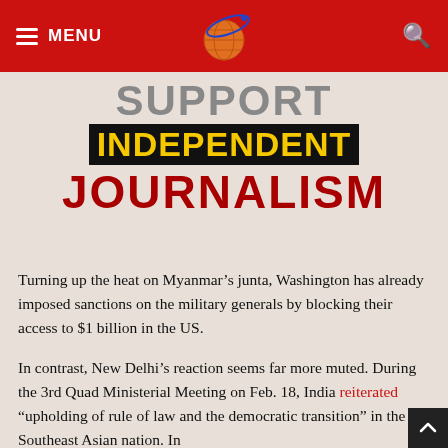MENU [logo] [search]
SUPPORT INDEPENDENT JOURNALISM
Turning up the heat on Myanmar’s junta, Washington has already imposed sanctions on the military generals by blocking their access to $1 billion in the US.
In contrast, New Delhi’s reaction seems far more muted. During the 3rd Quad Ministerial Meeting on Feb. 18, India reiterated “upholding of rule of law and the democratic transition” in the Southeast Asian nation. In